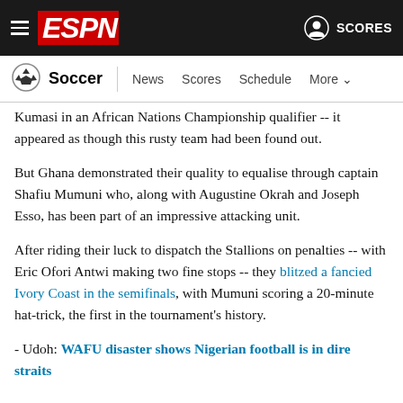ESPN - Soccer | News Scores Schedule More
Kumasi in an African Nations Championship qualifier -- it appeared as though this rusty team had been found out.
But Ghana demonstrated their quality to equalise through captain Shafiu Mumuni who, along with Augustine Okrah and Joseph Esso, has been part of an impressive attacking unit.
After riding their luck to dispatch the Stallions on penalties -- with Eric Ofori Antwi making two fine stops -- they blitzed a fancied Ivory Coast in the semifinals, with Mumuni scoring a 20-minute hat-trick, the first in the tournament's history.
- Udoh: WAFU disaster shows Nigerian football is in dire straits